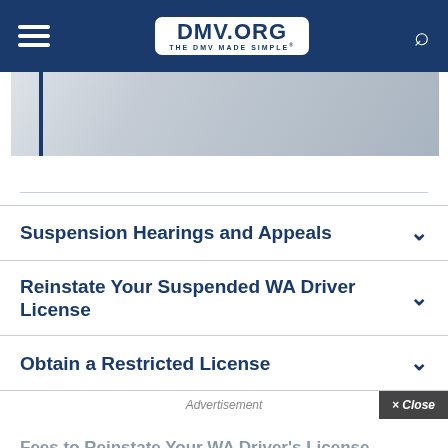DMV.ORG — THE DMV MADE SIMPLE
[Figure (photo): Partial photo of a person in a light-colored outfit, with a dark blue vertical bar on the left side]
Suspension Hearings and Appeals
Reinstate Your Suspended WA Driver License
Obtain a Restricted License
Advertisement
Fees to Reinstate Your WA Driver's License